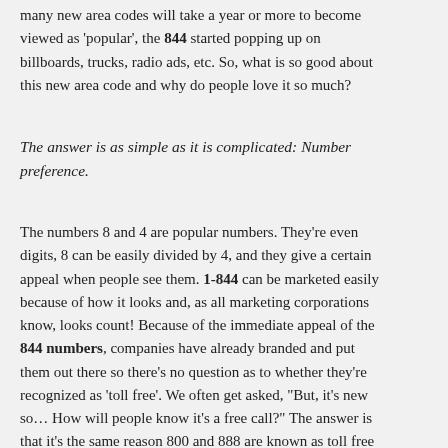many new area codes will take a year or more to become viewed as 'popular', the 844 started popping up on billboards, trucks, radio ads, etc. So, what is so good about this new area code and why do people love it so much?
The answer is as simple as it is complicated: Number preference.
The numbers 8 and 4 are popular numbers. They're even digits, 8 can be easily divided by 4, and they give a certain appeal when people see them. 1-844 can be marketed easily because of how it looks and, as all marketing corporations know, looks count! Because of the immediate appeal of the 844 numbers, companies have already branded and put them out there so there's no question as to whether they're recognized as 'toll free'. We often get asked, "But, it's new so… How will people know it's a free call?" The answer is that it's the same reason 800 and 888 are known as toll free numbers: Because businesses advertize them as such! They're in such high usage that when all of us reportedly